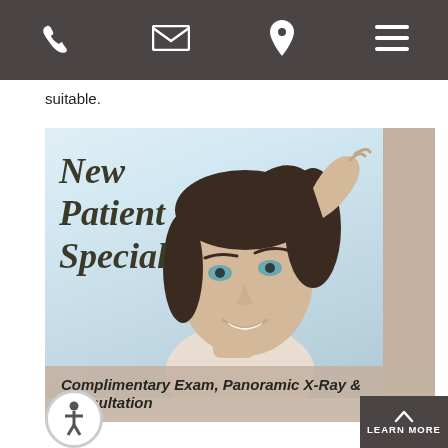[Navigation bar with phone, email, location, and menu icons]
suitable.
[Figure (photo): Banner image showing a smiling woman with dark hair looking upward, with 'New Patient Special' text overlay in dark italic bold font, and a beige/tan side panel on the right.]
Complimentary Exam, Panoramic X-Ray & Consultation